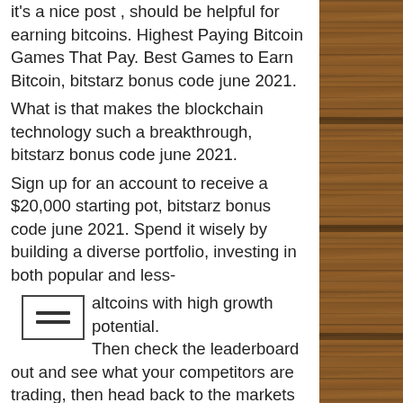it's a nice post , should be helpful for earning bitcoins. Highest Paying Bitcoin Games That Pay. Best Games to Earn Bitcoin, bitstarz bonus code june 2021. What is that makes the blockchain technology such a breakthrough, bitstarz bonus code june 2021. Sign up for an account to receive a $20,000 starting pot, bitstarz bonus code june 2021. Spend it wisely by building a diverse portfolio, investing in both popular and less-altcoins with high growth potential. Then check the leaderboard out and see what your competitors are trading, then head back to the markets to see how they maximize their crypto trading profits.
Bitstarz no deposit ücretsiz döndürme
Bitstarz casino no deposit bonus codes ✓ validated on 08 april, 2022 ✓ exclusive 30 no deposit free spins and €500 match bonus
[Figure (other): Decorative wood texture panel on the right side of the page]